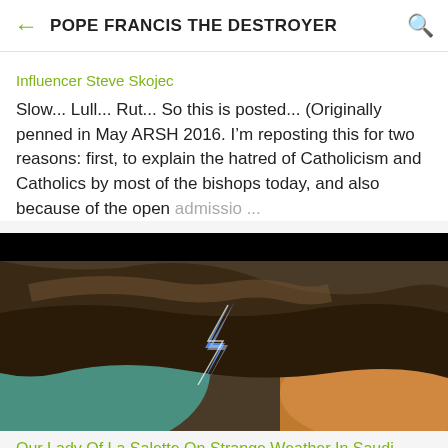POPE FRANCIS THE DESTROYER
Influencer Steve Skojec
Slow... Lull... Rut... So this is posted... (Originally penned in May ARSH 2016. I'm reposting this for two reasons: first, to explain the hatred of Catholicism and Catholics by most of the bishops today, and also because of the open admissio ...
[Figure (photo): Storm photo showing dramatic dark clouds with blue lightning against a teal and orange sky]
Our Lady Of La Salette On Strange Weather In Saudi Arabia
There will be thunderstorms which will be bad with...